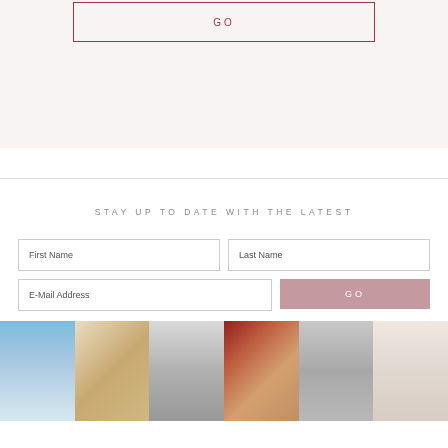[Figure (screenshot): Top section with pink/rose GO button with border on light pink background]
STAY UP TO DATE WITH THE LATEST
[Figure (screenshot): Newsletter signup form with First Name, Last Name, E-Mail Address fields and GO button]
[Figure (photo): Strip of 6 thumbnail photos: baby in pool, shoes with ribbons, stroller, Amazon boxes, pillow, baby portrait]